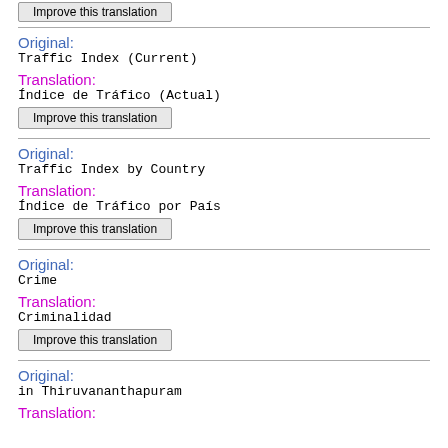[Improve this translation button at top]
Original:
Traffic Index (Current)
Translation:
Índice de Tráfico (Actual)
Improve this translation
Original:
Traffic Index by Country
Translation:
Índice de Tráfico por País
Improve this translation
Original:
Crime
Translation:
Criminalidad
Improve this translation
Original:
in Thiruvananthapuram
Translation: